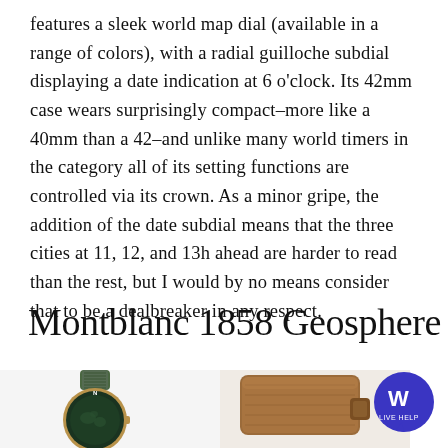features a sleek world map dial (available in a range of colors), with a radial guilloche subdial displaying a date indication at 6 o'clock. Its 42mm case wears surprisingly compact–more like a 40mm than a 42–and unlike many world timers in the category all of its setting functions are controlled via its crown. As a minor gripe, the addition of the date subdial means that the three cities at 11, 12, and 13h ahead are harder to read than the rest, but I would by no means consider that to be a dealbreaker in any respect.
Montblanc 1858 Geosphere
[Figure (photo): Green fabric strap watch with dark green dial showing world map, gold case - Montblanc 1858 Geosphere]
[Figure (photo): Brown leather strap of a watch - detail view]
[Figure (logo): W logo with text LIVE HELP on dark blue/purple circular badge]